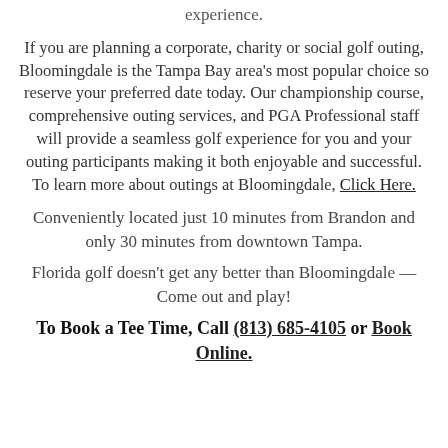experience.
If you are planning a corporate, charity or social golf outing, Bloomingdale is the Tampa Bay area's most popular choice so reserve your preferred date today. Our championship course, comprehensive outing services, and PGA Professional staff will provide a seamless golf experience for you and your outing participants making it both enjoyable and successful. To learn more about outings at Bloomingdale, Click Here.
Conveniently located just 10 minutes from Brandon and only 30 minutes from downtown Tampa.
Florida golf doesn't get any better than Bloomingdale — Come out and play!
To Book a Tee Time, Call (813) 685-4105 or Book Online.